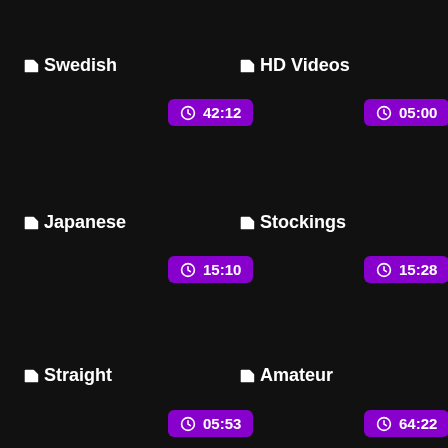Swedish
HD Videos
42:12
05:00
Japanese
Stockings
15:10
15:28
Straight
Amateur
05:53
64:22